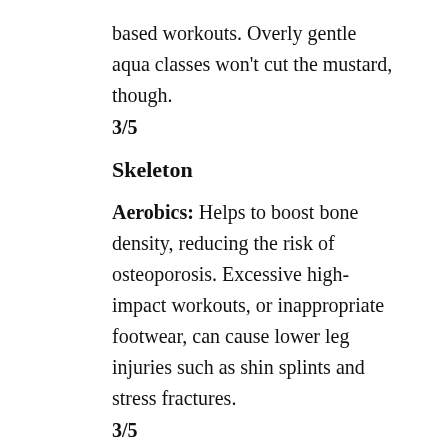based workouts. Overly gentle aqua classes won't cut the mustard, though.
3/5
Skeleton
Aerobics: Helps to boost bone density, reducing the risk of osteoporosis. Excessive high-impact workouts, or inappropriate footwear, can cause lower leg injuries such as shin splints and stress fractures.
3/5
Aqua-Aerobics: In chest-deep water, your body weight is about 40% of that on land, so it's ideal for those with joint problems. But